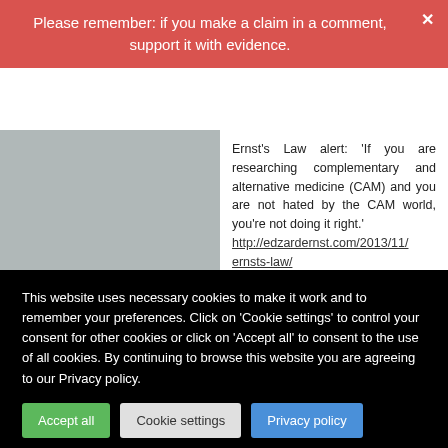Please remember: if you make a claim in a comment, support it with evidence.
Ernst's Law alert: 'If you are researching complementary and alternative medicine (CAM) and you are not hated by the CAM world, you're not doing it right.' http://edzardernst.com/2013/11/ernsts-law/
Also see 'Ad-hominem attacks are signs of victories of reason over unreason' http://edzardernst.com/2012/12/ad-hominem-attacks-are-signs-of-victories-of-reason-over-
This website uses necessary cookies to make it work and to remember your preferences. Click on 'Cookie settings' to control your consent for other cookies or click on 'Accept all' to consent to the use of all cookies. By continuing to browse this website you are agreeing to our Privacy policy.